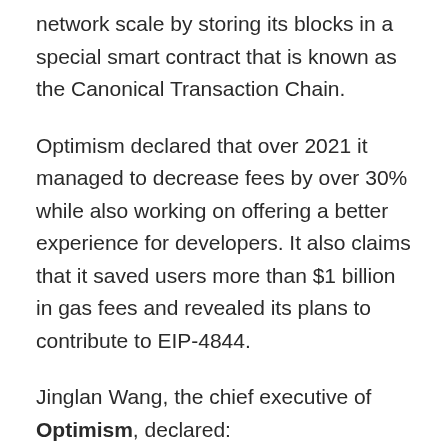network scale by storing its blocks in a special smart contract that is known as the Canonical Transaction Chain.
Optimism declared that over 2021 it managed to decrease fees by over 30% while also working on offering a better experience for developers. It also claims that it saved users more than $1 billion in gas fees and revealed its plans to contribute to EIP-4844.
Jinglan Wang, the chief executive of Optimism, declared:
“We want to be future proof, so we’re not